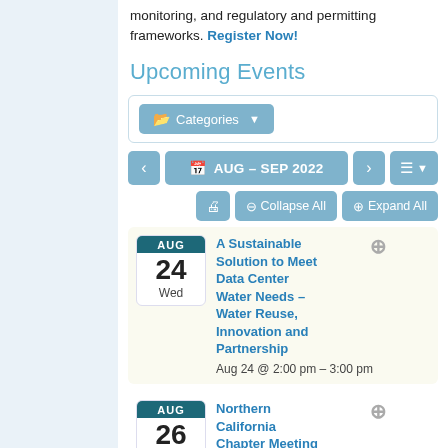monitoring, and regulatory and permitting frameworks. Register Now!
Upcoming Events
Categories (filter button)
AUG – SEP 2022 (navigation)
Collapse All | Expand All (action buttons)
AUG 24 Wed — A Sustainable Solution to Meet Data Center Water Needs – Water Reuse, Innovation and Partnership — Aug 24 @ 2:00 pm – 3:00 pm
AUG 26 Fri — Northern California Chapter Meeting Q3 (Palo Alto/Virtual) — Aug 26 @ 9:00 am – 12:00 pm